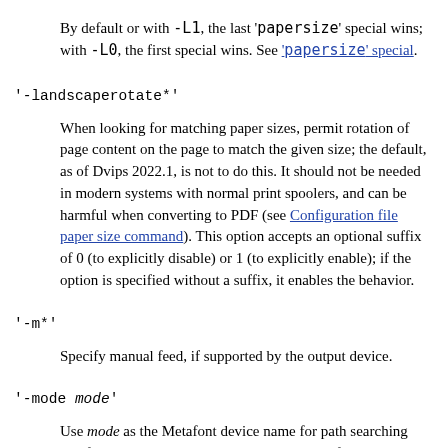By default or with -L1, the last 'papersize' special wins; with -L0, the first special wins. See 'papersize' special.
'-landscaperotate*'
When looking for matching paper sizes, permit rotation of page content on the page to match the given size; the default, as of Dvips 2022.1, is not to do this. It should not be needed in modern systems with normal print spoolers, and can be harmful when converting to PDF (see Configuration file paper size command). This option accepts an optional suffix of 0 (to explicitly disable) or 1 (to explicitly enable); if the option is specified without a suffix, it enables the behavior.
'-m*'
Specify manual feed, if supported by the output device.
'-mode mode'
Use mode as the Metafont device name for path searching and font generation. This overrides any value from configuration files. With the default paths, explicitly specifying the mode also makes the program assume the fonts are in a subdirectory named mode. See TeX directory